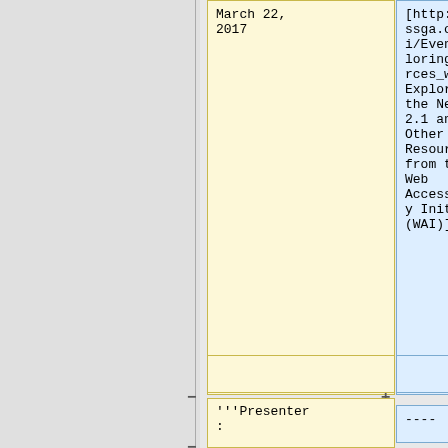March 22, 2017
[http://accessga.org/wiki/Events/exploring_resources_w3c_wai Exploring the New WCAG 2.1 and Other Resources from the W3C Web Accessibility Initiative (WAI)]
----
'''Presenter: